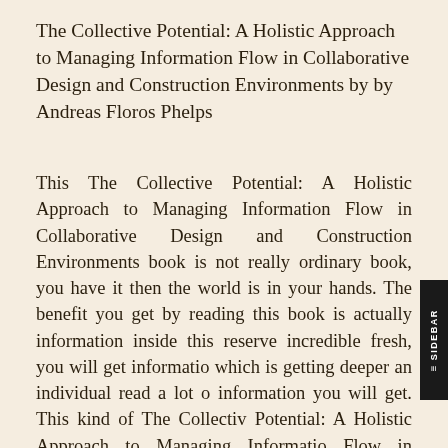The Collective Potential: A Holistic Approach to Managing Information Flow in Collaborative Design and Construction Environments by by Andreas Floros Phelps
This The Collective Potential: A Holistic Approach to Managing Information Flow in Collaborative Design and Construction Environments book is not really ordinary book, you have it then the world is in your hands. The benefit you get by reading this book is actually information inside this reserve incredible fresh, you will get information which is getting deeper an individual read a lot of information you will get. This kind of The Collective Potential: A Holistic Approach to Managing Information Flow in Collaborative Design and Construction Environments without we recognize teach the one who looking at it become critical in imagining and analyzing. Don't be worry The Collective Potential: A Holistic Approach to Managing Information Flow in Collaborative Design and Construction Environments can bring any time